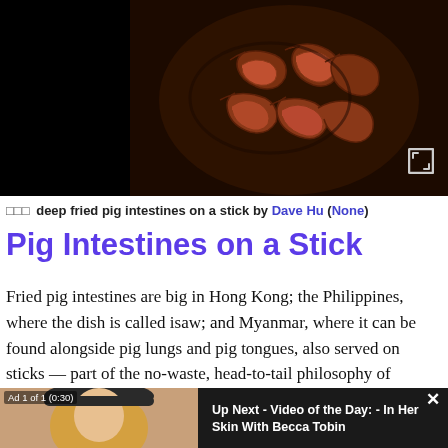[Figure (photo): Dark background image area with a plate of deep fried pig intestines on a stick, coiled pieces in a dark bowl, shot from above; left third is black, right third has an expand icon.]
□□□ deep fried pig intestines on a stick by Dave Hu (None)
Pig Intestines on a Stick
Fried pig intestines are big in Hong Kong; the Philippines, where the dish is called isaw; and Myanmar, where it can be found alongside pig lungs and pig tongues, also served on sticks — part of the no-waste, head-to-tail philosophy of
[Figure (screenshot): Video ad overlay showing a blonde woman looking up, wearing a black hat, on a tan/warm background. Text reads: Ad 1 of 1 (0:30) and Up Next - Video of the Day: - In Her Skin With Becca Tobin. Close button X in top right.]